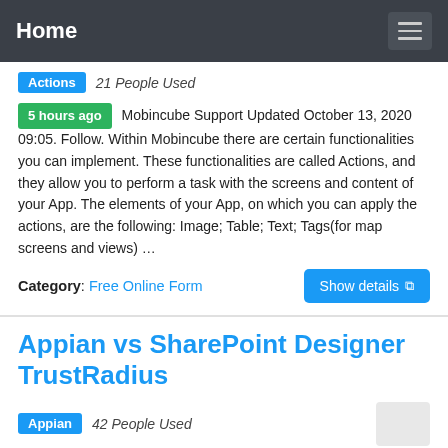Home
Actions  21 People Used
5 hours ago  Mobincube Support Updated October 13, 2020 09:05. Follow. Within Mobincube there are certain functionalities you can implement. These functionalities are called Actions, and they allow you to perform a task with the screens and content of your App. The elements of your App, on which you can apply the actions, are the following: Image; Table; Text; Tags(for map screens and views) …
Category: Free Online Form    Show details
Appian vs SharePoint Designer TrustRadius
Appian  42 People Used
Compare Appian vs SharePoint Designer 394